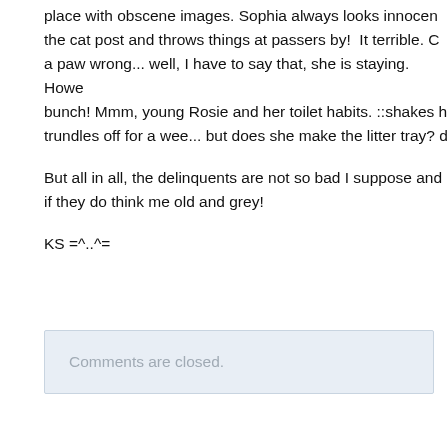place with obscene images. Sophia always looks innocen the cat post and throws things at passers by!  It terrible. C a paw wrong... well, I have to say that, she is staying. Howe bunch! Mmm, young Rosie and her toilet habits. ::shakes h trundles off for a wee... but does she make the litter tray? d
But all in all, the delinquents are not so bad I suppose and if they do think me old and grey!
KS =^..^=
Comments are closed.